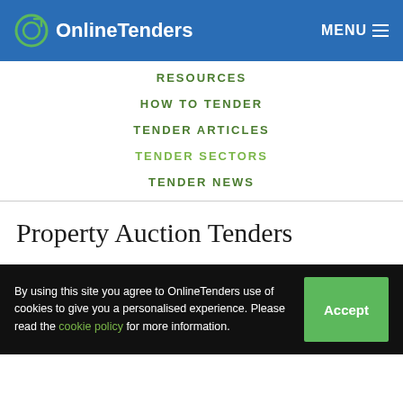OnlineTenders   MENU
RESOURCES
HOW TO TENDER
TENDER ARTICLES
TENDER SECTORS
TENDER NEWS
Property Auction Tenders
By using this site you agree to OnlineTenders use of cookies to give you a personalised experience. Please read the cookie policy for more information.